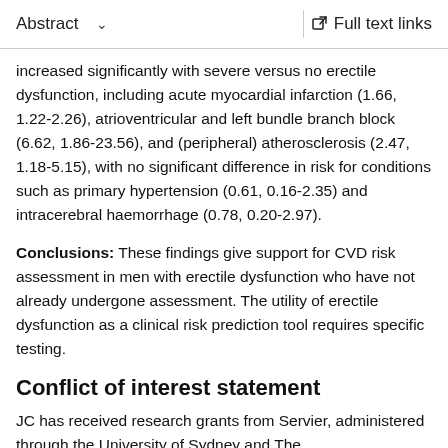Abstract   ∨   Full text links
increased significantly with severe versus no erectile dysfunction, including acute myocardial infarction (1.66, 1.22-2.26), atrioventricular and left bundle branch block (6.62, 1.86-23.56), and (peripheral) atherosclerosis (2.47, 1.18-5.15), with no significant difference in risk for conditions such as primary hypertension (0.61, 0.16-2.35) and intracerebral haemorrhage (0.78, 0.20-2.97).
Conclusions: These findings give support for CVD risk assessment in men with erectile dysfunction who have not already undergone assessment. The utility of erectile dysfunction as a clinical risk prediction tool requires specific testing.
Conflict of interest statement
JC has received research grants from Servier, administered through the University of Sydney and The